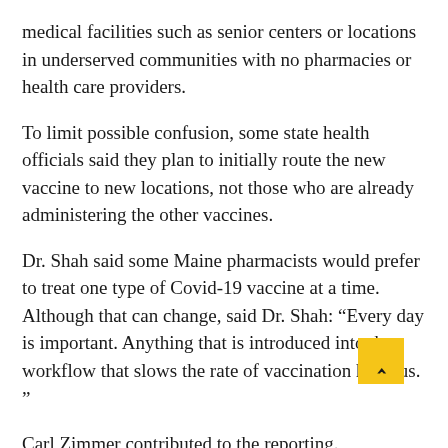medical facilities such as senior centers or locations in underserved communities with no pharmacies or health care providers.
To limit possible confusion, some state health officials said they plan to initially route the new vaccine to new locations, not those who are already administering the other vaccines.
Dr. Shah said some Maine pharmacists would prefer to treat one type of Covid-19 vaccine at a time. Although that can change, said Dr. Shah: “Every day is important. Anything that is introduced into the workflow that slows the rate of vaccination hurts us. ”
Carl Zimmer contributed to the reporting.
Previous